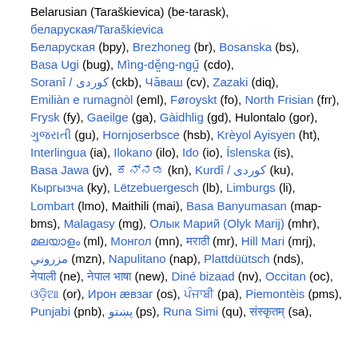Belarusian (Taraškievica) (be-tarask), беларуская/Taraškievica (bpy), Brezhoneg (br), Bosanska (bs), Basa Ugi (bug), Mìng-dĕ̤ng-ngṳ̄ (cdo), Soranî / کوردی (ckb), Чӑваш (cv), Zazaki (diq), Emiliàn e rumagnòl (eml), Føroyskt (fo), North Frisian (frr), Frysk (fy), Gaeilge (ga), Gàidhlig (gd), Hulontalo (gor), ગુજરાતી (gu), Hornjoserbsce (hsb), Krèyol Ayisyen (ht), Interlingua (ia), Ilokano (ilo), Ido (io), Íslenska (is), Basa Jawa (jv), ಕನ್ನಡ (kn), Kurdî / کوردی (ku), Кыргызча (ky), Lëtzebuergesch (lb), Limburgs (li), Lombart (lmo), Maithili (mai), Basa Banyumasan (map-bms), Malagasy (mg), Олык Марий (Olyk Marij) (mhr), മലയാളം (ml), Монгол (mn), मराठी (mr), Hill Mari (mrj), مزروني (mzn), Napulitano (nap), Plattdüütsch (nds), नेपाली (ne), नेपाल भाषा (new), Diné bizaad (nv), Occitan (oc), ଓଡ଼ିଆ (or), Ирон æвзаг (os), ਪੰਜਾਬੀ (pa), Piemontèis (pms), Punjabi (pnb), پښتو (ps), Runa Simi (qu), संस्कृतम् (sa),